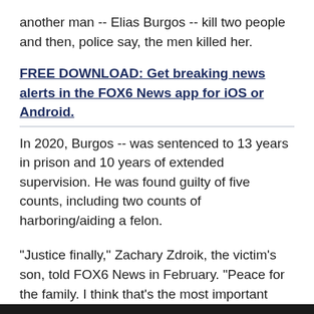another man -- Elias Burgos -- kill two people and then, police say, the men killed her.
FREE DOWNLOAD: Get breaking news alerts in the FOX6 News app for iOS or Android.
In 2020, Burgos -- was sentenced to 13 years in prison and 10 years of extended supervision. He was found guilty of five counts, including two counts of harboring/aiding a felon.
"Justice finally," Zachary Zdroik, the victim's son, told FOX6 News in February. "Peace for the family. I think that's the most important thing. For my family, obviously, it means everything. We can finally go to sleep at night knowing the man responsible for all of our sadness for the last 21 years is now put away."